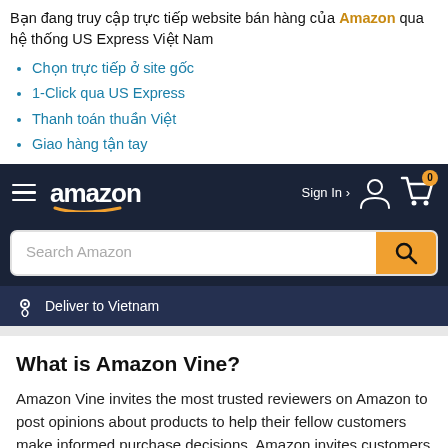Bạn đang truy cập trực tiếp website bán hàng của Amazon qua hệ thống US Express Việt Nam
Chọn trực tiếp ở site gốc
1-Click qua US Express
Thanh toán thuần Việt
Giao hàng tận tay
[Figure (screenshot): Amazon website navigation bar with hamburger menu, Amazon logo, Sign In icon, and cart icon with 0 badge, on dark navy background]
[Figure (screenshot): Search Amazon input box with orange search button]
[Figure (screenshot): Deliver to Vietnam bar with location pin icon]
What is Amazon Vine?
Amazon Vine invites the most trusted reviewers on Amazon to post opinions about products to help their fellow customers make informed purchase decisions. Amazon invites customers to become Vine Voices based on the insightful reviews they publish...